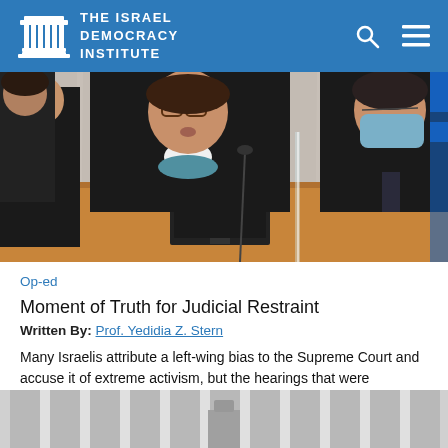THE ISRAEL DEMOCRACY INSTITUTE
[Figure (photo): Judges seated at court bench, woman in center without mask speaking, man to her right wearing surgical mask, papers stacked on desk, court setting.]
Op-ed
Moment of Truth for Judicial Restraint
Written By: Prof. Yedidia Z. Stern
Many Israelis attribute a left-wing bias to the Supreme Court and accuse it of extreme activism, but the hearings that were broadcast live highlight the vast gulf between the Court's image and the reality
[Figure (photo): Bottom portion of a courthouse or official building exterior, grey columns visible, partially cropped.]